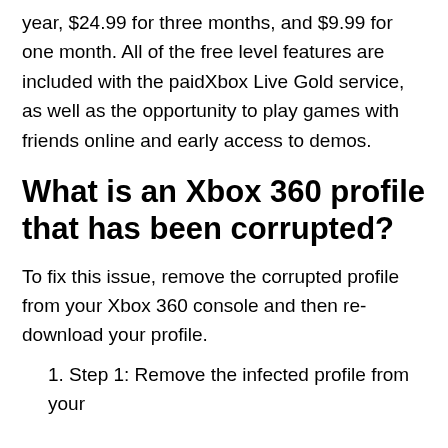year, $24.99 for three months, and $9.99 for one month. All of the free level features are included with the paidXbox Live Gold service, as well as the opportunity to play games with friends online and early access to demos.
What is an Xbox 360 profile that has been corrupted?
To fix this issue, remove the corrupted profile from your Xbox 360 console and then re-download your profile.
1. Step 1: Remove the infected profile from your